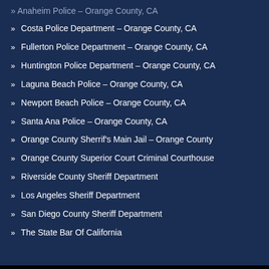» Anaheim Police – Orange County, CA
» Costa Police Department – Orange County, CA
» Fullerton Police Department – Orange County, CA
» Huntington Police Department – Orange County, CA
» Laguna Beach Police – Orange County, CA
» Newport Beach Police – Orange County, CA
» Santa Ana Police – Orange County, CA
» Orange County Sherrif's Main Jail – Orange County
» Orange County Superior Court Criminal Courthouse
» Riverside County Sheriff Department
» Los Angeles Sheriff Department
» San Diego County Sheriff Department
» The State Bar Of California
Copyright 2022 © Santa Ana Bail Bonds ® | Bail Bonds in Orange County | License#: 1840496
Santa Ana Bail Bonds is the Official site of the Bail Bondsman in Orange County. Call 714-973-2245